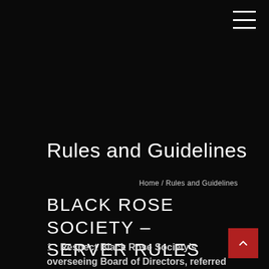≡
Rules and Guidelines
Home / Rules and Guidelines
BLACK ROSE SOCIETY – SERVER RULES
1. Respect Black Rose Society's overseeing Board of Directors, referred